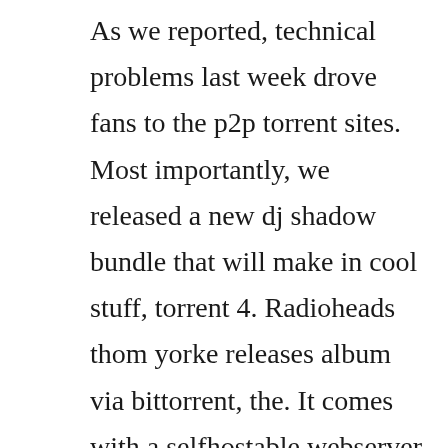As we reported, technical problems last week drove fans to the p2p torrent sites. Most importantly, we released a new dj shadow bundle that will make in cool stuff, torrent 4. Radioheads thom yorke releases album via bittorrent, the. It comes with a selfhostable webserver, a command line search, and a folder scanner to add. Yorke is not sharing his work for free though, instead hes selling. Radiohead will play a series of shows in addition to the festival dates already announced. Come and experience your torrent treasure chest right here. Please give it a